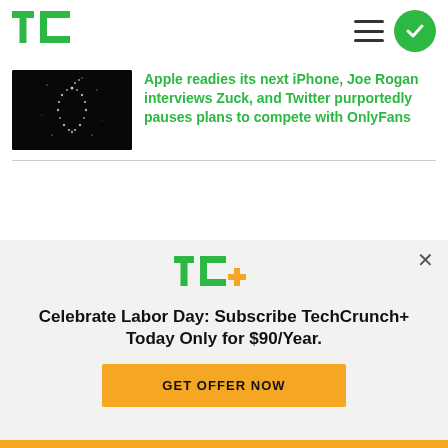TechCrunch
Apple readies its next iPhone, Joe Rogan interviews Zuck, and Twitter purportedly pauses plans to compete with OnlyFans
[Figure (photo): Dark background with Apple logo made of glowing particles/stars]
[Figure (logo): TechCrunch+ logo (TC+) in green with yellow plus sign]
Celebrate Labor Day: Subscribe TechCrunch+ Today Only for $90/Year.
GET OFFER NOW